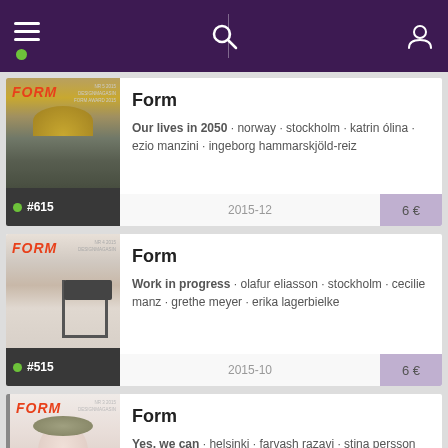[Figure (screenshot): Mobile app navigation bar with purple background, hamburger menu, search icon, and user icon]
[Figure (screenshot): Magazine listing card for Form #615, 2015-12, 6€, with cover image showing golden dome architecture]
Form
Our lives in 2050 · norway · stockholm · katrin ólina · ezio manzini · ingeborg hammarskjöld-reiz
#615  2015-12  6 €
[Figure (screenshot): Magazine listing card for Form #515, 2015-10, 6€, with cover image showing interior design workspace]
Form
Work in progress · olafur eliasson · stockholm · cecilie manz · grethe meyer · erika lagerbielke
#515  2015-10  6 €
[Figure (screenshot): Magazine listing card for Form (third entry), with cover image showing woman with floral headpiece]
Form
Yes, we can · helsinki · farvash razavi · stina persson helleday · helen carlson · mia hägg